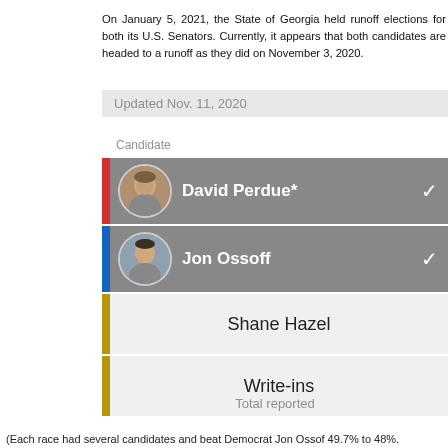On January 5, 2021, the State of Georgia held runoff elections for both its U.S. Senators. Currently, it appears that both candidates are headed to a runoff as they did on November 3, 2020.
| Candidate |
| --- |
| David Perdue* ✓ |
| Jon Ossoff ✓ |
| Shane Hazel |
| Write-ins |
Updated Nov. 11, 2020
Total reported
(Each race had several candidates and beat Democrat Jon Ossof 49.7% to 48%.